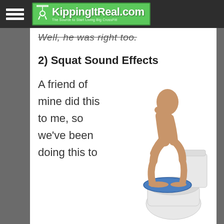KippingItReal.com
Well, he was right too.
2) Squat Sound Effects
A friend of mine did this to me, so we've been doing this to
[Figure (illustration): 3D rendered figure of a bald humanoid person squatting on a toilet, viewed from the side, toilet shown with blue seat]